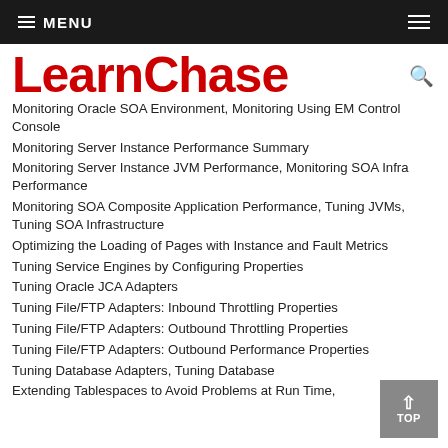MENU
LearnChase
Monitoring Oracle SOA Environment, Monitoring Using EM Control Console
Monitoring Server Instance Performance Summary
Monitoring Server Instance JVM Performance, Monitoring SOA Infra Performance
Monitoring SOA Composite Application Performance, Tuning JVMs, Tuning SOA Infrastructure
Optimizing the Loading of Pages with Instance and Fault Metrics
Tuning Service Engines by Configuring Properties
Tuning Oracle JCA Adapters
Tuning File/FTP Adapters: Inbound Throttling Properties
Tuning File/FTP Adapters: Outbound Throttling Properties
Tuning File/FTP Adapters: Outbound Performance Properties
Tuning Database Adapters, Tuning Database
Extending Tablespaces to Avoid Problems at Run Time,